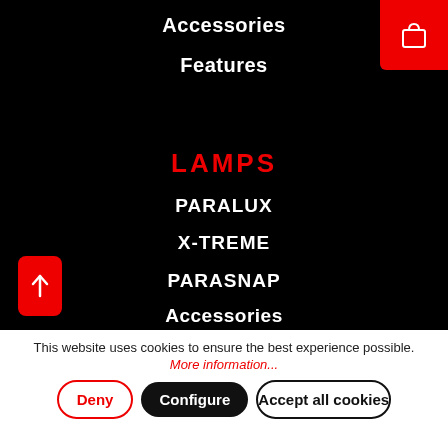Accessories
Features
LAMPS
PARALUX
X-TREME
PARASNAP
Accessories
This website uses cookies to ensure the best experience possible.
More information...
Deny
Configure
Accept all cookies